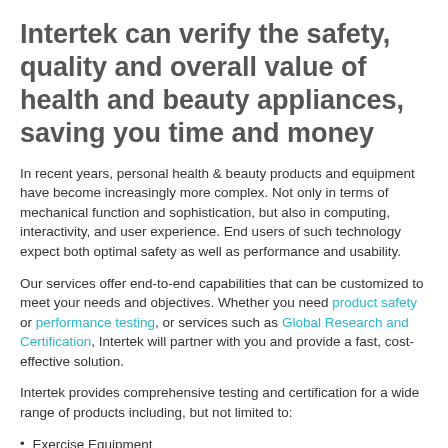Intertek can verify the safety, quality and overall value of health and beauty appliances, saving you time and money
In recent years, personal health & beauty products and equipment have become increasingly more complex. Not only in terms of mechanical function and sophistication, but also in computing, interactivity, and user experience. End users of such technology expect both optimal safety as well as performance and usability.
Our services offer end-to-end capabilities that can be customized to meet your needs and objectives. Whether you need product safety or performance testing, or services such as Global Research and Certification, Intertek will partner with you and provide a fast, cost-effective solution.
Intertek provides comprehensive testing and certification for a wide range of products including, but not limited to:
Exercise Equipment